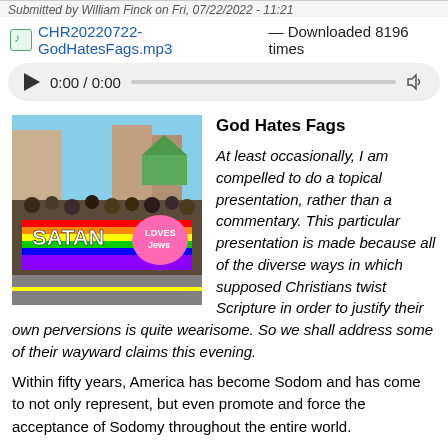Submitted by William Finck on Fri, 07/22/2022 - 11:21
CHR20220722-GodHatesFags.mp3 — Downloaded 8196 times
[Figure (screenshot): Audio player showing 0:00 / 0:00 with play button and progress bar]
God Hates Fags
[Figure (photo): Photo of a pride parade with people carrying a rainbow banner reading SATAN LOVES Jews]
At least occasionally, I am compelled to do a topical presentation, rather than a commentary. This particular presentation is made because all of the diverse ways in which supposed Christians twist Scripture in order to justify their own perversions is quite wearisome. So we shall address some of their wayward claims this evening.
Within fifty years, America has become Sodom and has come to not only represent, but even promote and force the acceptance of Sodomy throughout the entire world.